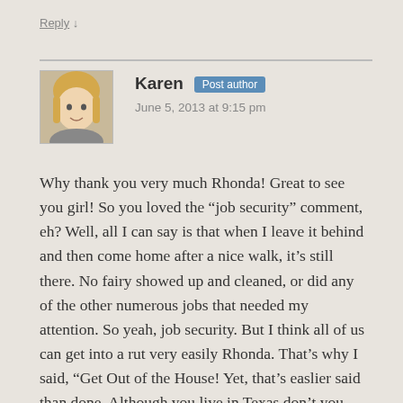Reply ↓
Karen Post author
June 5, 2013 at 9:15 pm
Why thank you very much Rhonda! Great to see you girl! So you loved the “job security” comment, eh? Well, all I can say is that when I leave it behind and then come home after a nice walk, it’s still there. No fairy showed up and cleaned, or did any of the other numerous jobs that needed my attention. So yeah, job security. But I think all of us can get into a rut very easily Rhonda. That’s why I said, “Get Out of the House! Yet, that’s easlier said than done. Although you live in Texas don’t you. Watch out for those Tornadoes girlfriend. We don’t want to lose you or Toto! Take care Rhonda and thanks for stopping by! 🙂